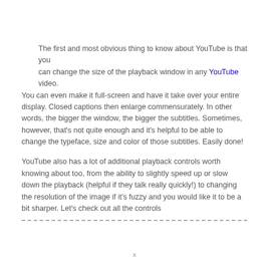The first and most obvious thing to know about YouTube is that you can change the size of the playback window in any YouTube video. You can even make it full-screen and have it take over your entire display. Closed captions then enlarge commensurately. In other words, the bigger the window, the bigger the subtitles. Sometimes, however, that's not quite enough and it's helpful to be able to change the typeface, size and color of those subtitles. Easily done!
YouTube also has a lot of additional playback controls worth knowing about too, from the ability to slightly speed up or slow down the playback (helpful if they talk really quickly!) to changing the resolution of the image if it's fuzzy and you would like it to be a bit sharper. Let's check out all the controls